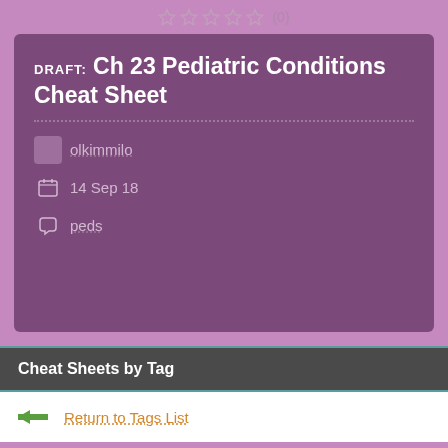[Figure (other): Star rating row showing 5 empty/outline stars and count (0)]
DRAFT: Ch 23 Pediatric Conditions Cheat Sheet
olkimmilo
14 Sep 18
peds
Cheat Sheets by Tag
Return to Tags List